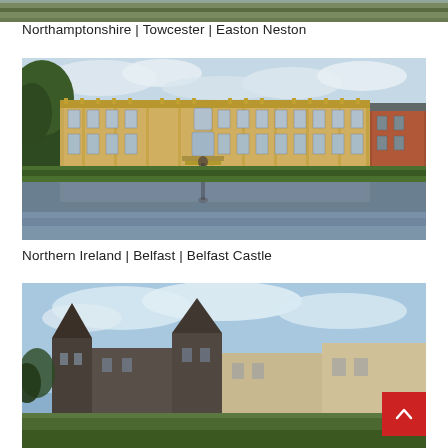[Figure (photo): Partial top strip of a building/landscape photo cropped at top of page]
Northamptonshire | Towcester | Easton Neston
[Figure (photo): Easton Neston mansion, a grand Baroque/Palladian country house in Northamptonshire, viewed from across a lake with a fountain statue in foreground, large trees to the left and a brick wing to the right]
Northern Ireland | Belfast | Belfast Castle
[Figure (photo): Partial view of Belfast Castle with blue sky and clouds, cropped at bottom of page]